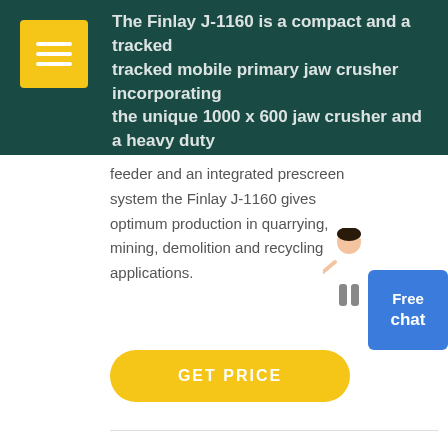The Finlay J-1160 is a compact and aggressive tracked mobile primary jaw crusher incorporating the unique 1000 x 600 jaw crusher and a heavy duty feeder and an integrated prescreen system the Finlay J-1160 gives optimum production in quarrying, mining, demolition and recycling applications.
feeder and an integrated prescreen system the Finlay J-1160 gives optimum production in quarrying, mining, demolition and recycling applications.
[Figure (photo): Yellow button with GET PRICE text]
[Figure (photo): Three photos of mobile jaw crusher machines in quarrying/mining settings]
Specifications